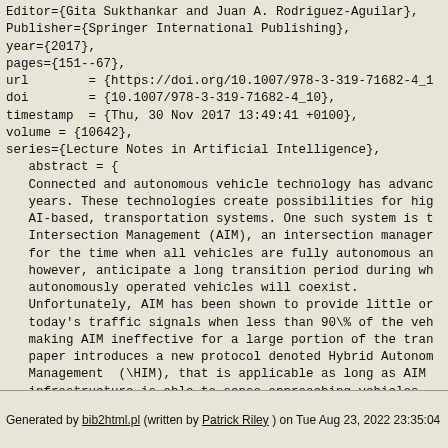Editor={Gita Sukthankar and Juan A. Rodriguez-Aguilar},
Publisher={Springer International Publishing},
year={2017},
pages={151--67},
url        = {https://doi.org/10.1007/978-3-319-71682-4_1
doi        = {10.1007/978-3-319-71682-4_10},
timestamp  = {Thu, 30 Nov 2017 13:49:41 +0100},
volume = {10642},
series={Lecture Notes in Artificial Intelligence},
   abstract = {
   Connected and autonomous vehicle technology has advanc
   years. These technologies create possibilities for hig
   AI-based, transportation systems. One such system is t
   Intersection Management (AIM), an intersection manager
   for the time when all vehicles are fully autonomous an
   however, anticipate a long transition period during wh
   autonomously operated vehicles will coexist.
   Unfortunately, AIM has been shown to provide little or
   today's traffic signals when less than 90\% of the veh
   making AIM ineffective for a large portion of the tran
   paper introduces a new protocol denoted Hybrid Autonom
   Management  (\HIM), that is applicable as long as AIM
   infrastructure is able to sense approaching vehicles.
   that this protocol can decrease traffic delay for auto
   at 1\% technology penetration rate.},
}
Generated by bib2html.pl (written by Patrick Riley ) on Tue Aug 23, 2022 23:35:04